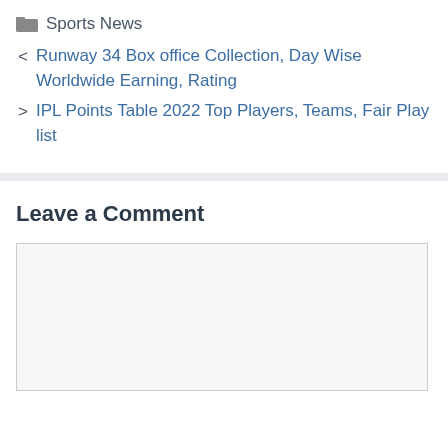Sports News
< Runway 34 Box office Collection, Day Wise Worldwide Earning, Rating
> IPL Points Table 2022 Top Players, Teams, Fair Play list
Leave a Comment